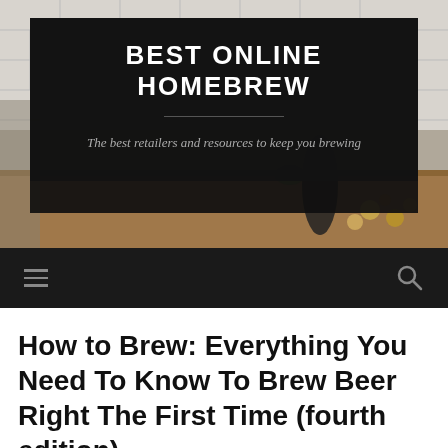[Figure (photo): Website header banner showing a kitchen background with white subway tiles, wooden counter, and brewing-related items including bottle caps. A dark overlay box contains the site title 'BEST ONLINE HOMEBREW' and subtitle 'The best retailers and resources to keep you brewing'.]
BEST ONLINE HOMEBREW
The best retailers and resources to keep you brewing
How to Brew: Everything You Need To Know To Brew Beer Right The First Time (fourth edition)